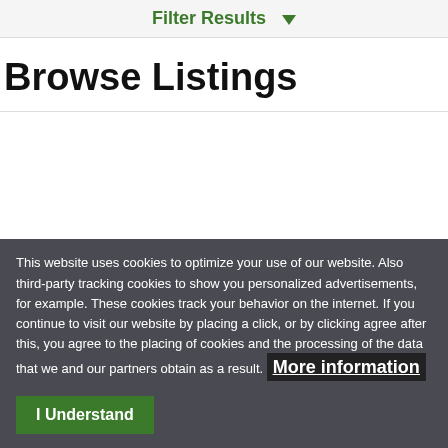Filter Results ▼
Browse Listings
This website uses cookies to optimize your use of our website. Also third-party tracking cookies to show you personalized advertisements, for example. These cookies track your behavior on the internet. If you continue to visit our website by placing a click, or by clicking agree after this, you agree to the placing of cookies and the processing of the data that we and our partners obtain as a result. More information
I Understand